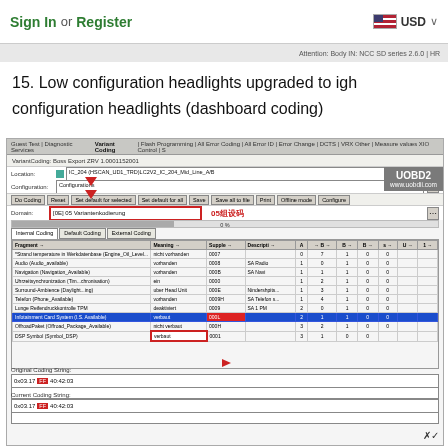Sign In or Register | USD
15. Low configuration headlights upgraded to igh configuration headlights (dashboard coding)
[Figure (screenshot): Screenshot of VCDS/diagnostic software showing VariantCoding module with domain set to '[0E] 05 Variantenkodierung', internal coding table listing various parameters including Infotainment Card System highlighted in blue, with Original Coding String and Current Coding String displayed at bottom. Red boxes highlight domain input and arrows indicate navigation steps. Chinese label '05组设码' annotates the domain field. UOBD2 watermark in top-right corner.]